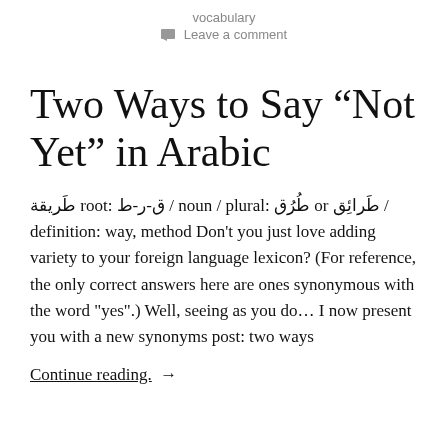vocabulary
Leave a comment
Two Ways to Say “Not Yet” in Arabic
طَريقة root: ق-ر-ط / noun / plural: طُرُق or طَرائِق / definition: way, method Don’t you just love adding variety to your foreign language lexicon? (For reference, the only correct answers here are ones synonymous with the word “yes”.) Well, seeing as you do… I now present you with a new synonyms post: two ways
Continue reading. →